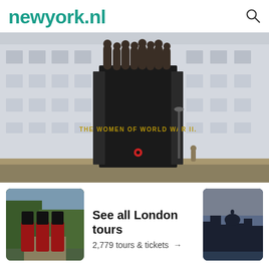newyork.nl
[Figure (photo): The Women of World War II monument — a large black rectangular sculpture with bronze relief figures of women in uniforms and civilian clothes along the top, inscribed 'THE WOMEN OF WORLD WAR II.' with a red poppy at the base. Set against a grand neoclassical building (London).]
[Figure (photo): Thumbnail of Horse Guards in red uniforms with tall black hats on horses at Windsor/London]
See all London tours
2,779 tours & tickets →
[Figure (photo): Thumbnail of London skyline at dusk showing St Paul's Cathedral]